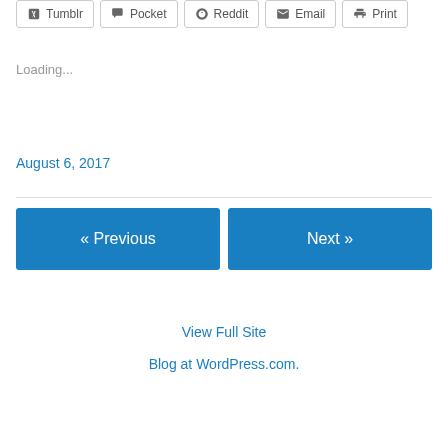Tumblr
Pocket
Reddit
Email
Print
Loading...
August 6, 2017
« Previous
Next »
View Full Site
Blog at WordPress.com.